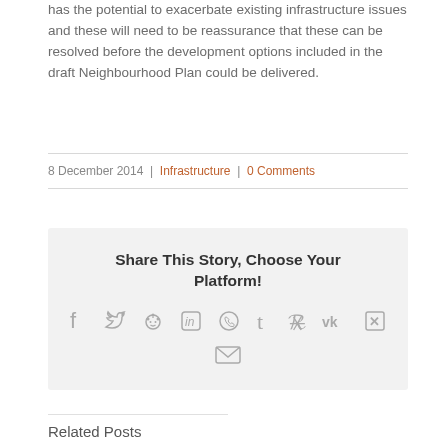has the potential to exacerbate existing infrastructure issues and these will need to be reassurance that these can be resolved before the development options included in the draft Neighbourhood Plan could be delivered.
8 December 2014 | Infrastructure | 0 Comments
Share This Story, Choose Your Platform!
[Figure (infographic): Social media sharing icons: Facebook, Twitter, Reddit, LinkedIn, WhatsApp, Tumblr, Pinterest, VK, Xing, Email]
Related Posts